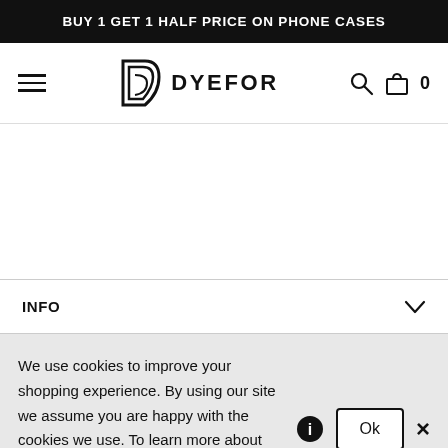BUY 1 GET 1 HALF PRICE ON PHONE CASES
[Figure (logo): Dyefor logo with stylized D icon and wordmark DYEFOR, plus hamburger menu, search icon, and bag icon with 0]
INFO
We use cookies to improve your shopping experience. By using our site we assume you are happy with the cookies we use. To learn more about the cookies we set press the i icon.